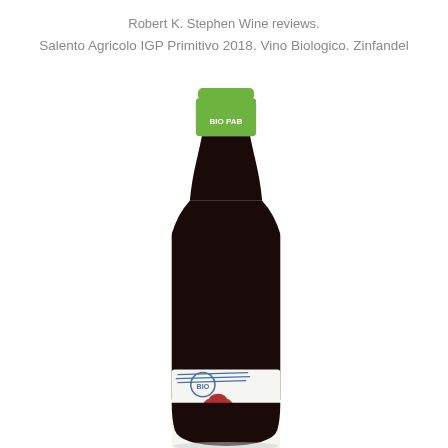Robert K. Stephen Wine reviews.
Salento Agricolo IGP Primitivo 2018. Vino Biologico. Zinfandel
[Figure (photo): A wine bottle with a dark body, green capsule top with text 'BIO PAB', and a white label featuring a postage-stamp style design with 'BIO' text, blue cancellation lines, and a red decorative element. The bottle is Salento Agricolo IGP Primitivo 2018 Vino Biologico Zinfandel.]